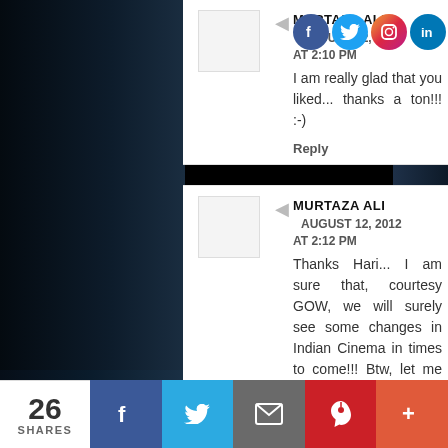[Figure (illustration): Social media icons (Facebook, Twitter, Instagram, LinkedIn) in top right corner]
MURTAZA ALI  AUGUST 12, 2012 AT 2:10 PM
I am really glad that you liked... thanks a ton!!! :-)
Reply
MURTAZA ALI  AUGUST 12, 2012 AT 2:12 PM
Thanks Hari... I am sure that, courtesy GOW, we will surely see some changes in Indian Cinema in times to come!!! Btw, let me read your review and get back to you :-)
Reply
MITHIL NAIK GAUNKER  AUGUST
26 SHARES